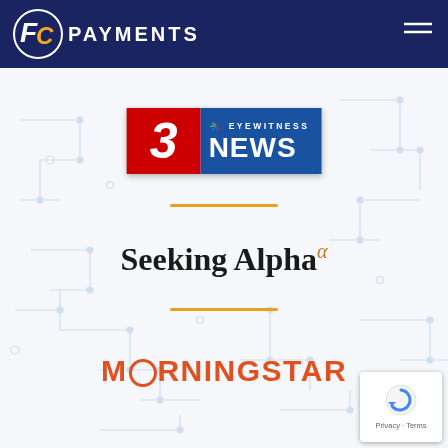[Figure (logo): FC Payments logo in navy header bar with hamburger menu icon]
[Figure (logo): NBC 3 Eyewitness News logo - red left panel with number 3, blue right panel with EYEWITNESS NEWS text]
[Figure (logo): Seeking Alpha logo with alpha superscript in orange]
[Figure (logo): Morningstar logo in red/orange text]
[Figure (other): reCAPTCHA Privacy Terms badge in bottom right corner]
[Figure (illustration): Circuit board / technology network pattern background in light blue on white]